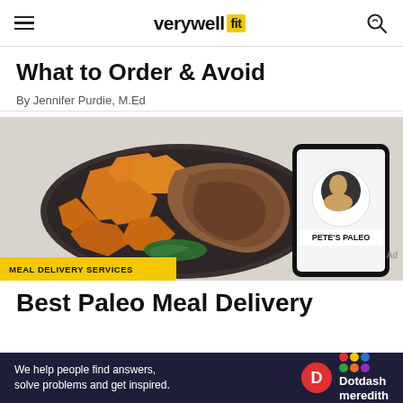verywell fit
What to Order & Avoid
By Jennifer Purdie, M.Ed
[Figure (photo): Dark plate with roasted orange sweet potato chunks and shredded meat on left, alongside a smartphone showing Pete's Paleo logo on white background, on a light gray surface.]
MEAL DELIVERY SERVICES
Best Paleo Meal Delivery
We help people find answers, solve problems and get inspired.
Dotdash meredith